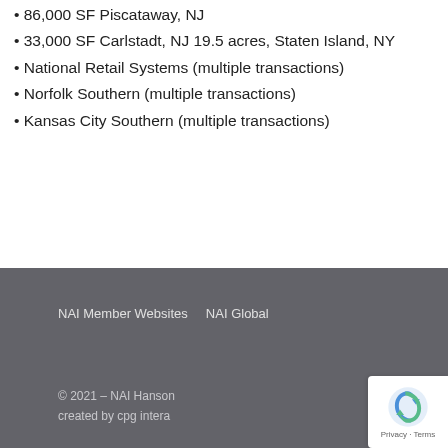86,000 SF Piscataway, NJ
33,000 SF Carlstadt, NJ 19.5 acres, Staten Island, NY
National Retail Systems (multiple transactions)
Norfolk Southern (multiple transactions)
Kansas City Southern (multiple transactions)
NAI Member Websites   NAI Global
© 2021 – NAI Hanson
created by cpg intera